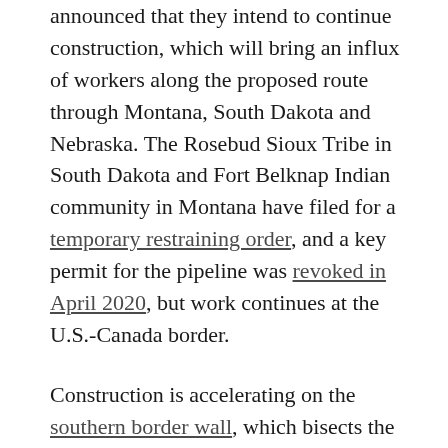announced that they intend to continue construction, which will bring an influx of workers along the proposed route through Montana, South Dakota and Nebraska. The Rosebud Sioux Tribe in South Dakota and Fort Belknap Indian community in Montana have filed for a temporary restraining order, and a key permit for the pipeline was revoked in April 2020, but work continues at the U.S.-Canada border.
Construction is accelerating on the southern border wall, which bisects the Tohono O’odham reservation in Arizona and Mexico. The Trump administration has increased patrols at the border, despite the tribe’s concern that the patrols’ presence is spreading coronavirus on the reservation.